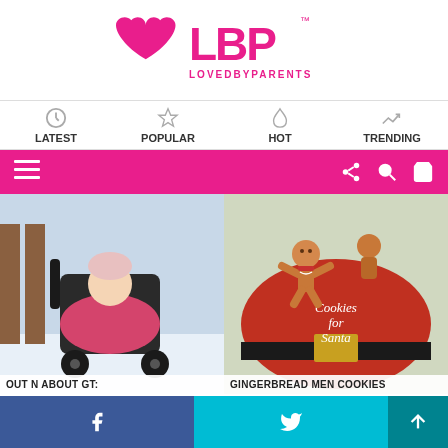[Figure (logo): LBP Loved By Parents logo — pink heart with LBP text and LOVEDBYPARENTS tagline]
LATEST   POPULAR   HOT   TRENDING
[Figure (screenshot): Pink toolbar with hamburger menu icon on left, and share/search/cart icons on right]
[Figure (photo): Three carousel images: baby in stroller in snow, gingerbread men cookies for Santa, and a review product shot]
OUT N ABOUT GT:
GINGERBREAD MEN COOKIES
REVIEW O...
Family Recipes   October 2015   Recipes   Watch Daddy Cook
f   Twitter   ↑